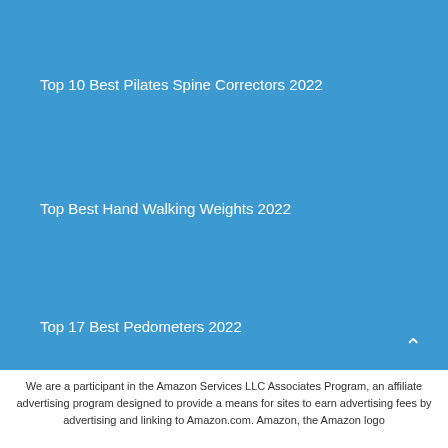Top 10 Best Pilates Spine Correctors 2022
Top Best Hand Walking Weights 2022
Top 17 Best Pedometers 2022
We are a participant in the Amazon Services LLC Associates Program, an affiliate advertising program designed to provide a means for sites to earn advertising fees by advertising and linking to Amazon.com. Amazon, the Amazon logo